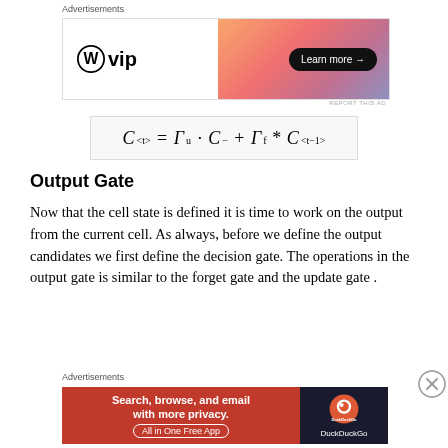[Figure (other): WordPress VIP advertisement banner with gradient background and Learn more button]
Output Gate
Now that the cell state is defined it is time to work on the output from the current cell. As always, before we define the output candidates we first define the decision gate. The operations in the output gate is similar to the forget gate and the update gate .
[Figure (other): DuckDuckGo advertisement banner — Search, browse, and email with more privacy. All in One Free App]